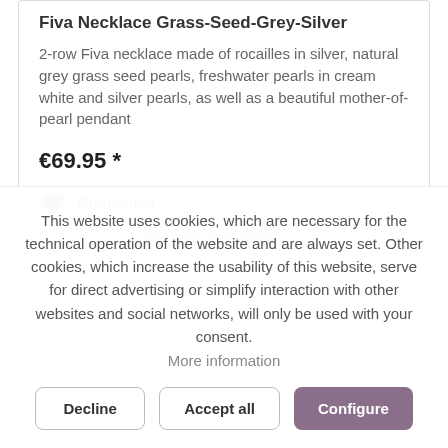Fiva Necklace Grass-Seed-Grey-Silver
2-row Fiva necklace made of rocailles in silver, natural grey grass seed pearls, freshwater pearls in cream white and silver pearls, as well as a beautiful mother-of-pearl pendant
€69.95 *
Remember
This website uses cookies, which are necessary for the technical operation of the website and are always set. Other cookies, which increase the usability of this website, serve for direct advertising or simplify interaction with other websites and social networks, will only be used with your consent. More information
Decline
Accept all
Configure